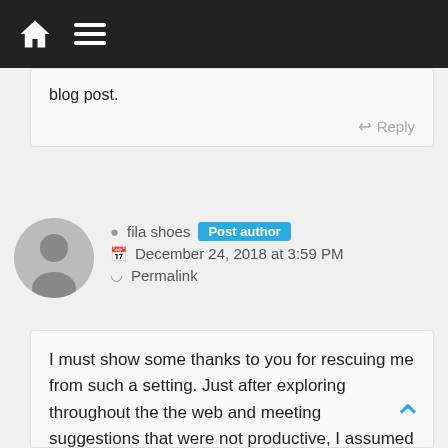Navigation bar with home and menu icons
blog post.
Reply
fila shoes  Post author
December 24, 2018 at 3:59 PM
Permalink
I must show some thanks to you for rescuing me from such a setting. Just after exploring throughout the the web and meeting suggestions that were not productive, I assumed my life was well over. Existing minus the approaches to the problems you have resolved by means of your entire short article is a serious case, and the kind which could have in a negative